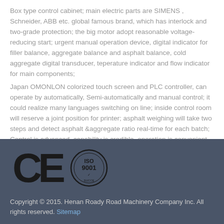Box type control cabinet; main electric parts are SIMENS , Schneider, ABB etc. global famous brand, which has interlock and two-grade protection; the big motor adopt reasonable voltage-reducing start; urgent manual operation device, digital indicator for filler balance, aggregate balance and asphalt balance, cold aggregate digital transducer, teperature indicator and flow indicator for main components;
Japan OMONLON colorized touch screen and PLC controller, can operate by automatically, Semi-automatically and manual control; it could realize many languages switching on line; inside control room will reserve a joint position for printer; asphalt weighing will take two steps and detect asphalt &aggregate ratio real-time for each batch; Control is advanced, capability is credible, operation is convenient and obvious.
[Figure (logo): CE certification mark and ISO 9001 certification logo displayed in the footer]
Copyright © 2015. Henan Roady Road Machinery Company Inc. All rights reserved. Sitemap